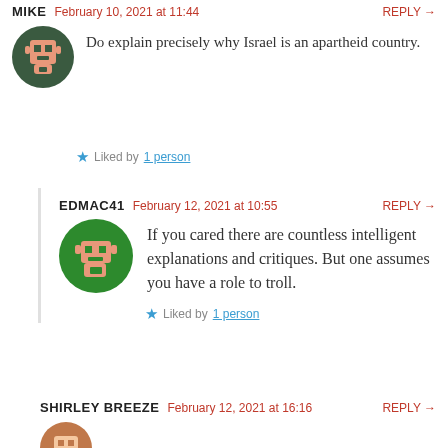MIKE   February 10, 2021 at 11:44   REPLY →
Do explain precisely why Israel is an apartheid country.
★ Liked by 1 person
EDMAC41   February 12, 2021 at 10:55   REPLY →
If you cared there are countless intelligent explanations and critiques. But one assumes you have a role to troll.
★ Liked by 1 person
SHIRLEY BREEZE   February 12, 2021 at 16:16   REPLY →